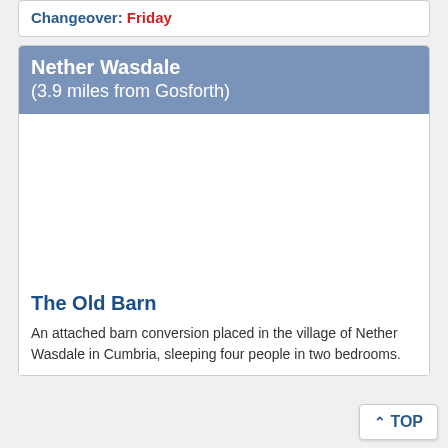Changeover: Friday
Nether Wasdale (3.9 miles from Gosforth)
[Figure (photo): Photo placeholder for The Old Barn property in Nether Wasdale]
The Old Barn
An attached barn conversion placed in the village of Nether Wasdale in Cumbria, sleeping four people in two bedrooms.